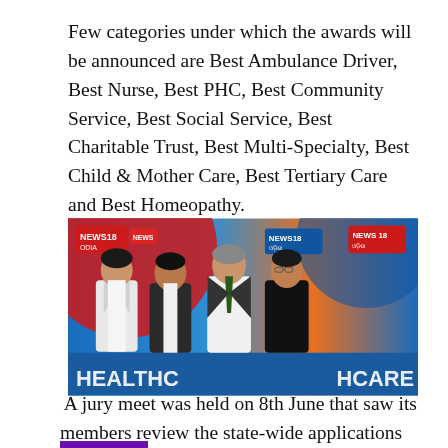Few categories under which the awards will be announced are Best Ambulance Driver, Best Nurse, Best PHC, Best Community Service, Best Social Service, Best Charitable Trust, Best Multi-Specialty, Best Child & Mother Care, Best Tertiary Care and Best Homeopathy.
[Figure (photo): Four men standing in front of a News18 healthcare event backdrop with a blue background showing 'HEALTHCARE' text. The men are dressed formally — one in a white suit, one in a dark suit with a blue tie, one in a white shirt with a dark tie, and one in a dark traditional Indian jacket.]
A jury meet was held on 8th June that saw its members review the state-wide applications and